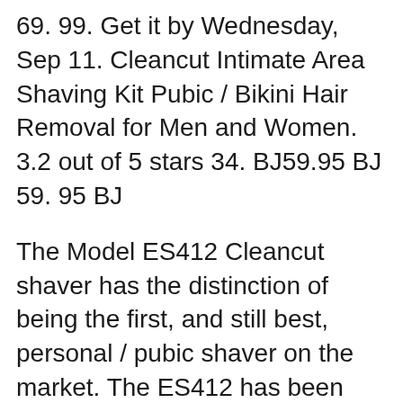69. 99. Get it by Wednesday, Sep 11. Cleancut Intimate Area Shaving Kit Pubic / Bikini Hair Removal for Men and Women. 3.2 out of 5 stars 34. BJ59.95 BJ 59. 95 BJ
The Model ES412 Cleancut shaver has the distinction of being the first, and still best, personal / pubic shaver on the market. The ES412 has been made by the same manufacturer for many years (decades) and is still made in Japan, where quality and workmanship are considered high art. The business end of the ES412 consists of the slotted foil 11/08/2016B B· Review about Cleancut ES412 Personal Shaver Date: 10.08.2016. Category Gaming: Show